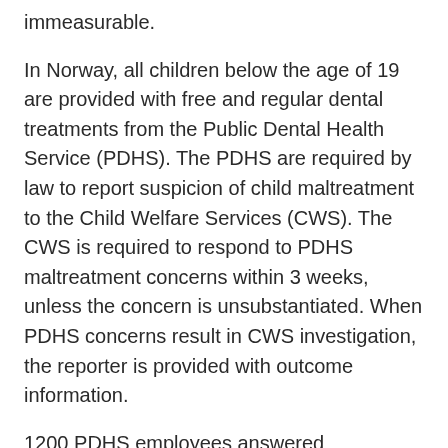immeasurable.
In Norway, all children below the age of 19 are provided with free and regular dental treatments from the Public Dental Health Service (PDHS). The PDHS are required by law to report suspicion of child maltreatment to the Child Welfare Services (CWS). The CWS is required to respond to PDHS maltreatment concerns within 3 weeks, unless the concern is unsubstantiated. When PDHS concerns result in CWS investigation, the reporter is provided with outcome information.
1200 PDHS employees answered questionnaires regarding their reasons for sending a report to CWS and the responses the CWS gave.  The most common reason for sending a report of concern was if a child did not attend a dental visit, and not direct suspicion of neglect or interaction with